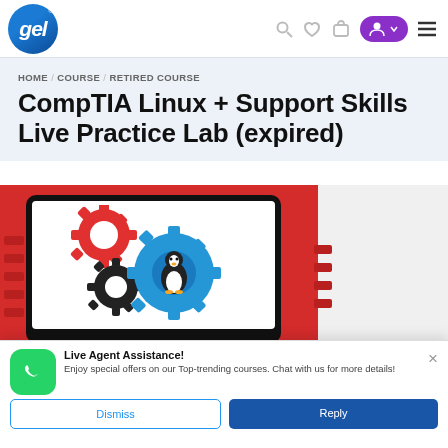[Figure (screenshot): GEL website header with circular blue logo showing 'gel' text, search, heart, cart icons, purple account button, and hamburger menu]
HOME / COURSE / RETIRED COURSE
CompTIA Linux + Support Skills Live Practice Lab (expired)
[Figure (illustration): Course banner image on red background showing a laptop/monitor with three gear icons (red, black, blue) and a Linux Tux penguin logo in the blue gear. CompTIA logo on white right panel.]
Live Agent Assistance! Enjoy special offers on our Top-trending courses. Chat with us for more details!